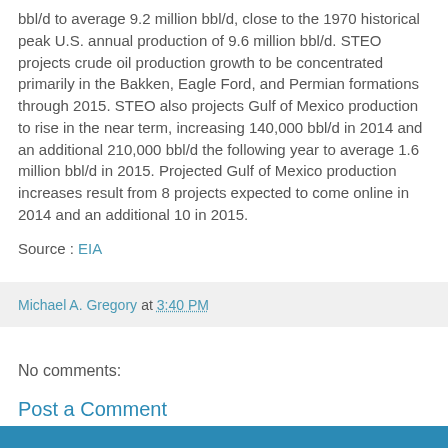bbl/d to average 9.2 million bbl/d, close to the 1970 historical peak U.S. annual production of 9.6 million bbl/d. STEO projects crude oil production growth to be concentrated primarily in the Bakken, Eagle Ford, and Permian formations through 2015. STEO also projects Gulf of Mexico production to rise in the near term, increasing 140,000 bbl/d in 2014 and an additional 210,000 bbl/d the following year to average 1.6 million bbl/d in 2015. Projected Gulf of Mexico production increases result from 8 projects expected to come online in 2014 and an additional 10 in 2015.
Source : EIA
Michael A. Gregory at 3:40 PM
No comments:
Post a Comment